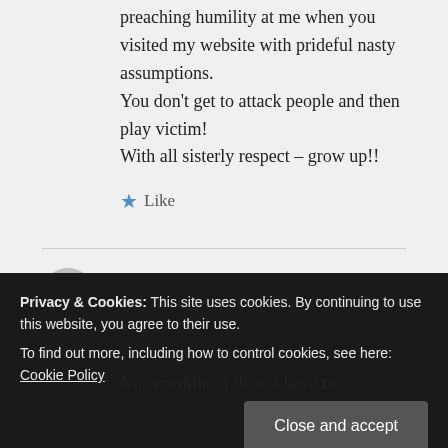preaching humility at me when you visited my website with prideful nasty assumptions.
You don't get to attack people and then play victim!
With all sisterly respect – grow up!!
★ Like
admin on January 29, 2022 at 8:44 pm
No, sunshine, I do not have to
Privacy & Cookies: This site uses cookies. By continuing to use this website, you agree to their use.
To find out more, including how to control cookies, see here: Cookie Policy
Close and accept